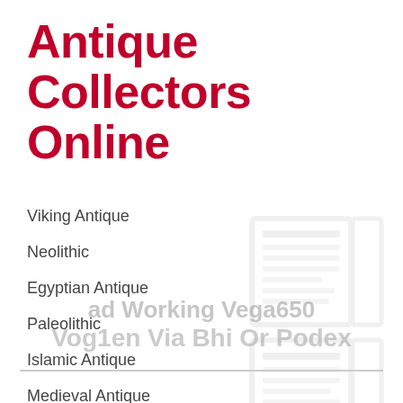Antique Collectors Online
Viking Antique
Neolithic
Egyptian Antique
Paleolithic
Islamic Antique
Medieval Antique
[Figure (illustration): Faded background image of book/grid motif watermark]
ad Working Vega650 Vog1en Via Bhi Or Podex